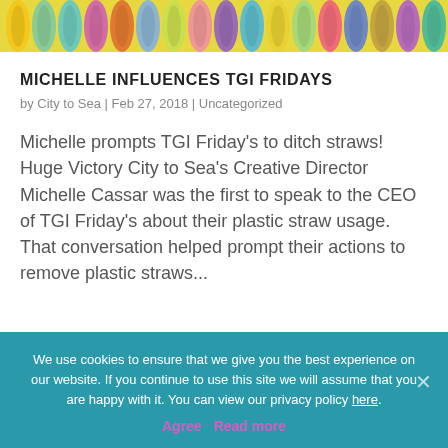[Figure (photo): Colorful plastic straws in various colors including yellow, green, teal, pink, purple, and blue, viewed from above.]
MICHELLE INFLUENCES TGI FRIDAYS
by City to Sea | Feb 27, 2018 | Uncategorized
Michelle prompts TGI Friday's to ditch straws! Huge Victory City to Sea's Creative Director Michelle Cassar was the first to speak to the CEO of TGI Friday's about their plastic straw usage. That conversation helped prompt their actions to remove plastic straws...
We use cookies to ensure that we give you the best experience on our website. If you continue to use this site we will assume that you are happy with it. You can view our privacy policy here. Agree  Read more